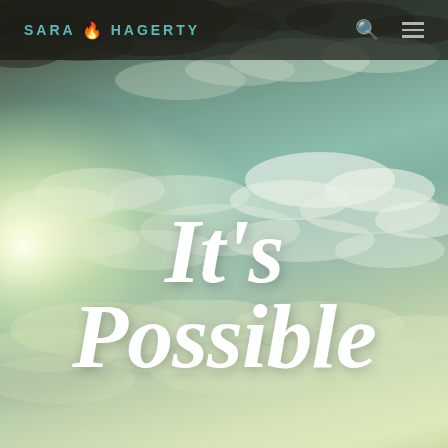SARA HAGERTY
[Figure (photo): Sky with clouds, sun glowing from lower left, teal-green hued sky with scattered white clouds, vintage/tinted color treatment]
It's Possible